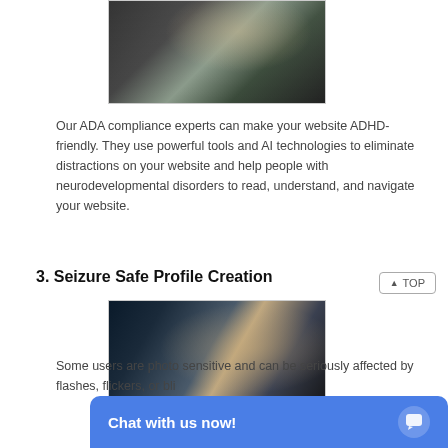[Figure (photo): A person with a beard sitting at a desk working on a computer with multiple screens showing code]
Our ADA compliance experts can make your website ADHD-friendly. They use powerful tools and AI technologies to eliminate distractions on your website and help people with neurodevelopmental disorders to read, understand, and navigate your website.
3. Seizure Safe Profile Creation
[Figure (photo): A person looking at multiple screens with code, holding their hand to their face thoughtfully]
Some users are photo sensitive and can be seriously affected by flashes, flickers, or bli...